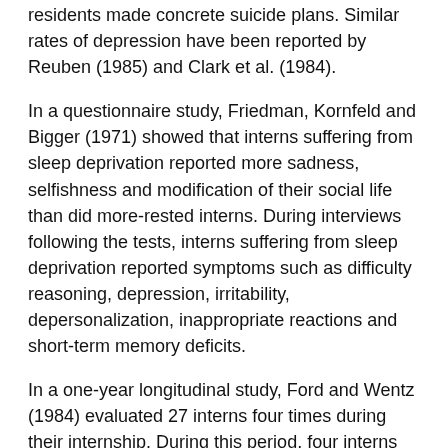residents made concrete suicide plans. Similar rates of depression have been reported by Reuben (1985) and Clark et al. (1984).
In a questionnaire study, Friedman, Kornfeld and Bigger (1971) showed that interns suffering from sleep deprivation reported more sadness, selfishness and modification of their social life than did more-rested interns. During interviews following the tests, interns suffering from sleep deprivation reported symptoms such as difficulty reasoning, depression, irritability, depersonalization, inappropriate reactions and short-term memory deficits.
In a one-year longitudinal study, Ford and Wentz (1984) evaluated 27 interns four times during their internship. During this period, four interns suffered at least one major bout of depression meeting standard criteria and 11 others reported clinical depression. Anger, fatigue and mood swings increased throughout the year and were inversely correlated with the amount of sleep the preceding week.